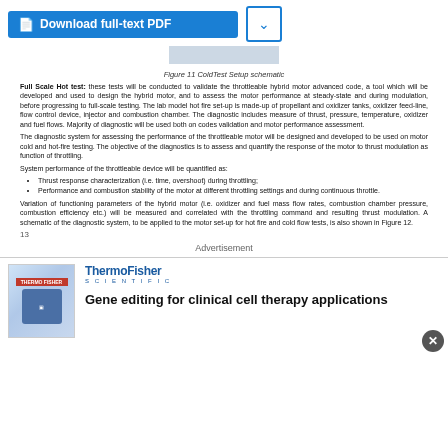[Figure (screenshot): Download full-text PDF button (blue) and dropdown arrow button]
Figure 11 ColdTest Setup schematic
Full Scale Hot test: these tests will be conducted to validate the throttleable hybrid motor advanced code, a tool which will be developed and used to design the hybrid motor, and to assess the motor performance at steady-state and during modulation, before progressing to full-scale testing. The lab model hot fire set-up is made-up of propellant and oxidizer tanks, oxidizer feed-line, flow control device, injector and combustion chamber. The diagnostic includes measure of thrust, pressure, temperature, oxidizer and fuel flows. Majority of diagnostic will be used both on codes validation and motor performance assessment.
The diagnostic system for assessing the performance of the throttleable motor will be designed and developed to be used on motor cold and hot-fire testing. The objective of the diagnostics is to assess and quantify the response of the motor to thrust modulation as function of throttling.
System performance of the throttleable device will be quantified as:
Thrust response characterization (i.e. time, overshoot) during throttling;
Performance and combustion stability of the motor at different throttling settings and during continuous throttle.
Variation of functioning parameters of the hybrid motor (i.e. oxidizer and fuel mass flow rates, combustion chamber pressure, combustion efficiency etc.) will be measured and correlated with the throttling command and resulting thrust modulation. A schematic of the diagnostic system, to be applied to the motor set-up for hot fire and cold flow tests, is also shown in Figure 12.
13
Advertisement
[Figure (photo): ThermoFisher Scientific advertisement showing lab equipment and text: Gene editing for clinical cell therapy applications]